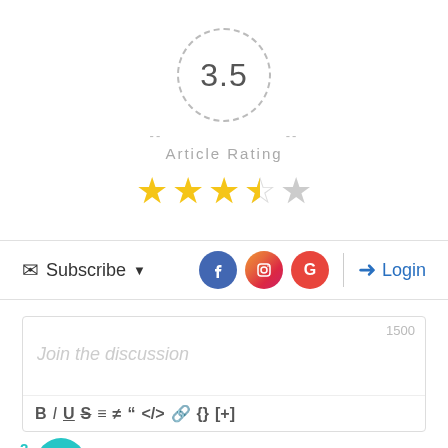[Figure (infographic): Rating widget showing 3.5 score in a dashed circle, 'Article Rating' label, and 3.5 out of 5 yellow stars]
[Figure (infographic): Comment section toolbar with Subscribe button, social icons (Facebook, Instagram, Google), divider, and Login button]
[Figure (infographic): Comment text area with placeholder 'Join the discussion', character count 1500, and formatting toolbar (B, I, U, S, ordered list, unordered list, blockquote, code, link, braces, plus)]
2 COMMENTS